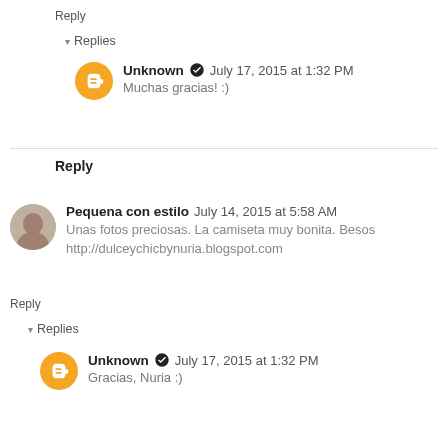Reply
▾ Replies
Unknown ✔ July 17, 2015 at 1:32 PM
Muchas gracias! :)
Reply
Pequena con estilo  July 14, 2015 at 5:58 AM
Unas fotos preciosas. La camiseta muy bonita. Besos
http://dulceychicbynuria.blogspot.com
Reply
▾ Replies
Unknown ✔ July 17, 2015 at 1:32 PM
Gracias, Nuria :)